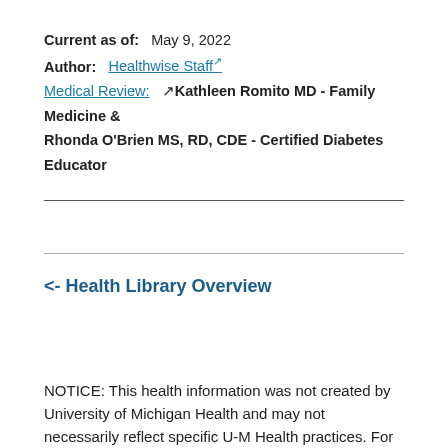Current as of:  May 9, 2022
Author:  Healthwise Staff
Medical Review:  Kathleen Romito MD - Family Medicine & Rhonda O'Brien MS, RD, CDE - Certified Diabetes Educator
<- Health Library Overview
NOTICE: This health information was not created by University of Michigan Health and may not necessarily reflect specific U-M Health practices. For medical advice relating to your personal condition, please consult your doctor. Complete disclaimer